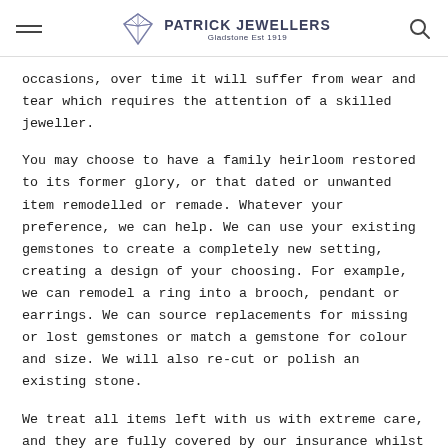PATRICK JEWELLERS Gladstone Est 1919
occasions, over time it will suffer from wear and tear which requires the attention of a skilled jeweller.
You may choose to have a family heirloom restored to its former glory, or that dated or unwanted item remodelled or remade. Whatever your preference, we can help. We can use your existing gemstones to create a completely new setting, creating a design of your choosing. For example, we can remodel a ring into a brooch, pendant or earrings. We can source replacements for missing or lost gemstones or match a gemstone for colour and size. We will also re-cut or polish an existing stone.
We treat all items left with us with extreme care, and they are fully covered by our insurance whilst in our care. To discuss your requirements please contact us to make an appointment.